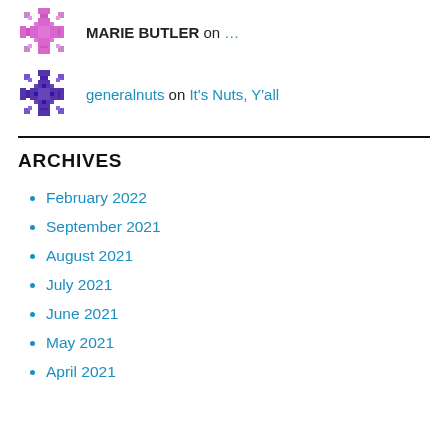[Figure (illustration): Pixel art snowflake avatar in pink/magenta color for MARIE BUTLER]
MARIE BUTLER on …
[Figure (illustration): Pixel art snowflake avatar in purple color for generalnuts]
generalnuts on It's Nuts, Y'all
ARCHIVES
February 2022
September 2021
August 2021
July 2021
June 2021
May 2021
April 2021